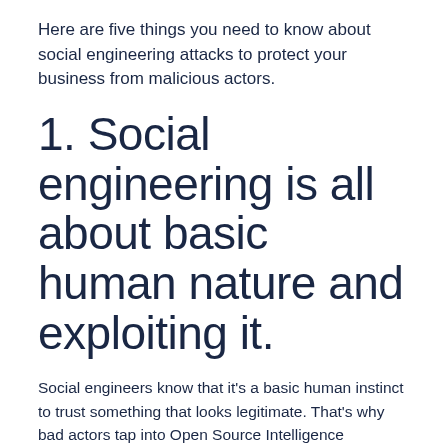Here are five things you need to know about social engineering attacks to protect your business from malicious actors.
1. Social engineering is all about basic human nature and exploiting it.
Social engineers know that it's a basic human instinct to trust something that looks legitimate. That's why bad actors tap into Open Source Intelligence (OSINT), or any bit of personally identifiable information (PII) they can gather for free about you or your organization. (Sometimes, more detailed information lies behind paywalls, and a hacker can pay a small sum to gather